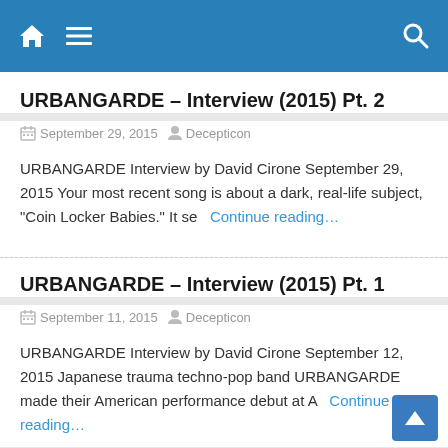Navigation bar with home, menu, and search icons
URBANGARDE – Interview (2015) Pt. 2
September 29, 2015   Decepticon
URBANGARDE Interview by David Cirone September 29, 2015 Your most recent song is about a dark, real-life subject, "Coin Locker Babies." It se   Continue reading…
URBANGARDE – Interview (2015) Pt. 1
September 11, 2015   Decepticon
URBANGARDE Interview by David Cirone September 12, 2015 Japanese trauma techno-pop band URBANGARDE made their American performance debut at A   Continue reading…